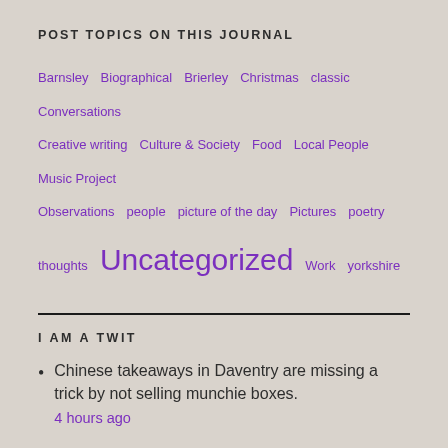POST TOPICS ON THIS JOURNAL
Barnsley  Biographical  Brierley  Christmas  classic  Conversations  Creative writing  Culture & Society  Food  Local People  Music Project  Observations  people  picture of the day  Pictures  poetry  thoughts  Uncategorized  Work  yorkshire
I AM A TWIT
Chinese takeaways in Daventry are missing a trick by not selling munchie boxes.
4 hours ago